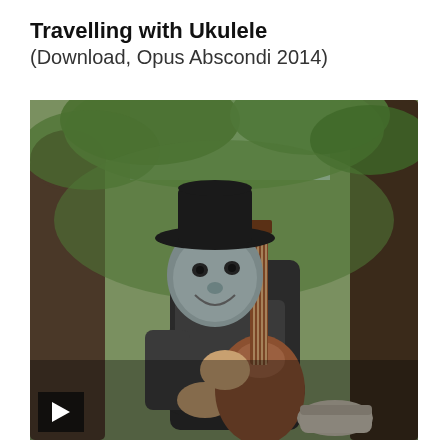Travelling with Ukulele
(Download, Opus Abscondi 2014)
[Figure (photo): A masked performer wearing a black hat and grey face paint sits in a tree holding a ukulele. Surrounded by green tree canopy. A video play button is overlaid in the bottom-left corner.]